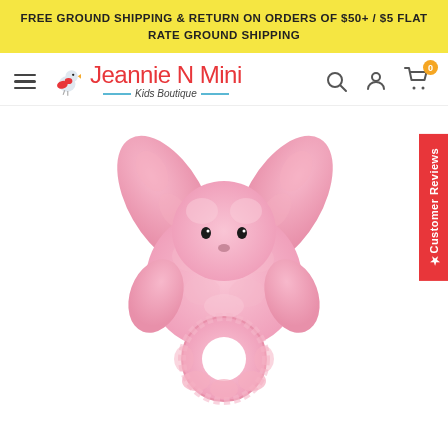FREE GROUND SHIPPING & RETURN ON ORDERS OF $50+ / $5 FLAT RATE GROUND SHIPPING
[Figure (logo): Jeannie N Mini Kids Boutique logo with a red bird, script red text, and blue underline with 'Kids Boutique' in italic]
[Figure (photo): Pink plush bunny rabbit ring rattle toy with floppy ears and a circular handle, fluffy pink fur, on white background]
★Customer Reviews